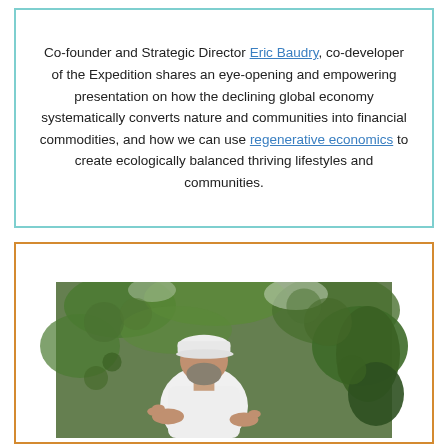Co-founder and Strategic Director Eric Baudry, co-developer of the Expedition shares an eye-opening and empowering presentation on how the declining global economy systematically converts nature and communities into financial commodities, and how we can use regenerative economics to create ecologically balanced thriving lifestyles and communities.
[Figure (photo): A bearded man wearing a white cap and white t-shirt, standing outdoors among dense green tree foliage, gesturing with his hands open as if explaining something.]